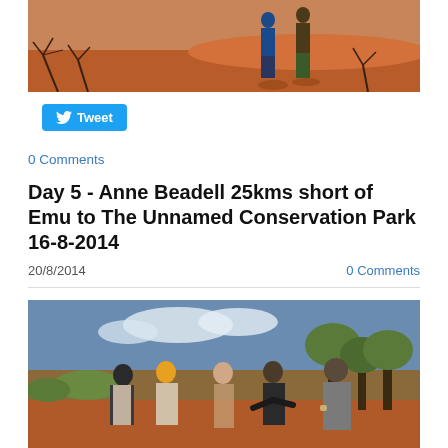[Figure (photo): Two people standing on red sandy outback terrain with sparse dead branches and scrub. Red sand dunes in background.]
Tweet
0 Comments
Day 5 - Anne Beadell 25kms short of Emu to The Unnamed Conservation Park 16-8-2014
20/8/2014
0 Comments
[Figure (photo): Group of five men standing in outback scrubland, some in casual/outdoor clothing, having a conversation. Blue sky with clouds in background.]